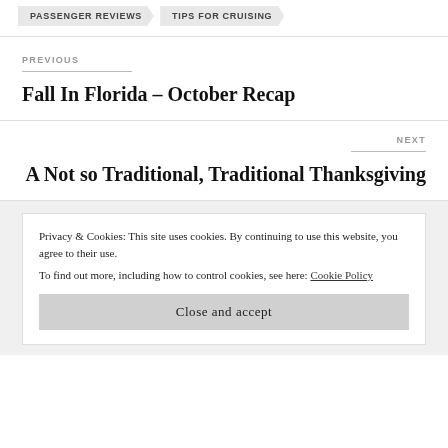PASSENGER REVIEWS   TIPS FOR CRUISING
PREVIOUS
Fall In Florida – October Recap
NEXT
A Not so Traditional, Traditional Thanksgiving
Privacy & Cookies: This site uses cookies. By continuing to use this website, you agree to their use.
To find out more, including how to control cookies, see here: Cookie Policy
Close and accept